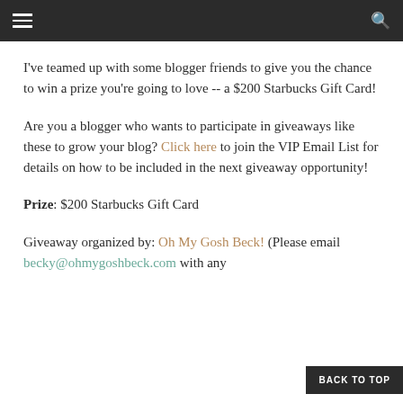navigation bar with hamburger menu and search icon
I've teamed up with some blogger friends to give you the chance to win a prize you're going to love -- a $200 Starbucks Gift Card!
Are you a blogger who wants to participate in giveaways like these to grow your blog? Click here to join the VIP Email List for details on how to be included in the next giveaway opportunity!
Prize: $200 Starbucks Gift Card
Giveaway organized by: Oh My Gosh Beck! (Please email becky@ohmygoshbeck.com with any
BACK TO TOP